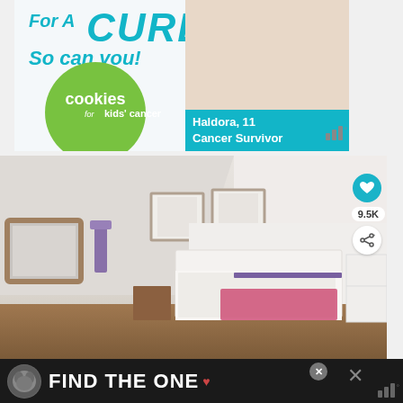[Figure (photo): Advertisement for Cookies for Kids' Cancer charity. Text reads 'For A CURE So can you!' with a green circle logo saying 'cookies for kids cancer'. A smiling blonde girl holds a plate of cookies. Teal banner reads 'Haldora, 11 Cancer Survivor'.]
[Figure (photo): Interior photo of a loft bedroom with slanted ceiling, two skylights, ornate mirror, white bed with pink blanket, wooden floor, white dresser. Social action buttons visible: heart icon, 9.5K count, share icon.]
[Figure (photo): Advertisement banner with dark background, dog icon, and text 'FIND THE ONE' with a close button and Weatherbug icon.]